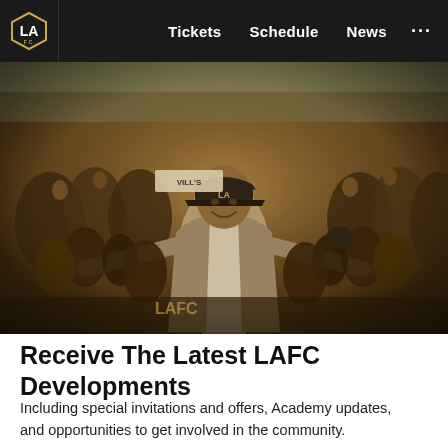LAFC navigation bar with logo, Tickets, Schedule, News, ...
[Figure (photo): A smiling man in a grey jacket and LAFC cap stands with arms outstretched in front of a crowd of enthusiastic LAFC fans, many wearing LAFC gear and hats, some making hand signs. Banner signs visible in background.]
Receive The Latest LAFC Developments
Including special invitations and offers, Academy updates, and opportunities to get involved in the community.